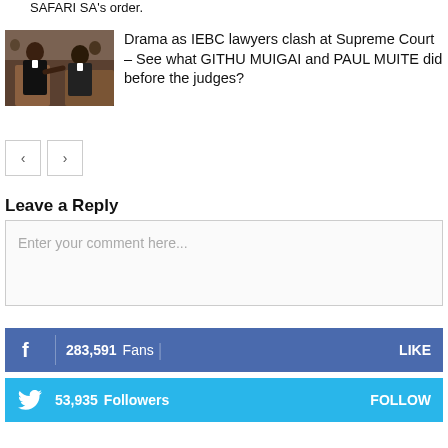SAFARI SA's order.
[Figure (photo): Two lawyers in suits appearing to argue or gesture at each other in a courtroom setting]
Drama as IEBC lawyers clash at Supreme Court – See what GITHU MUIGAI and PAUL MUITE did before the judges?
Leave a Reply
Enter your comment here...
283,591  Fans  LIKE
53,935  Followers  FOLLOW